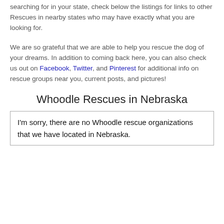searching for in your state, check below the listings for links to other Rescues in nearby states who may have exactly what you are looking for.
We are so grateful that we are able to help you rescue the dog of your dreams. In addition to coming back here, you can also check us out on Facebook, Twitter, and Pinterest for additional info on rescue groups near you, current posts, and pictures!
Whoodle Rescues in Nebraska
I'm sorry, there are no Whoodle rescue organizations that we have located in Nebraska.